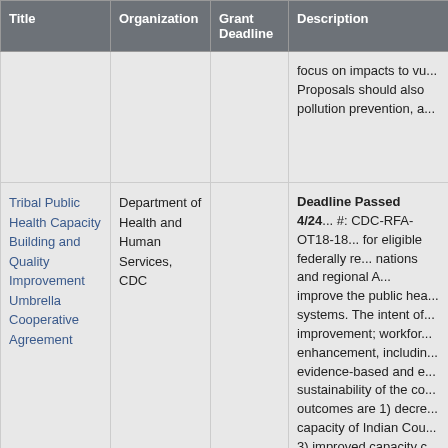| Title | Organization | Grant Deadline | Description |
| --- | --- | --- | --- |
|  |  |  | focus on impacts to vu... Proposals should also pollution prevention, a... |
| Tribal Public Health Capacity Building and Quality Improvement Umbrella Cooperative Agreement | Department of Health and Human Services, CDC |  | Deadline Passed 4/24... #: CDC-RFA-OT18-18... for eligible federally re... nations and regional A... improve the public hea... systems. The intent of... improvement; workfor... enhancement, includin... evidence-based and e... sustainability of the co... outcomes are 1) decre... capacity of Indian Cou... 3) improved capacity c... increased culturally-ap... that are effective and s... capacity to collaborati... advance health equity... |